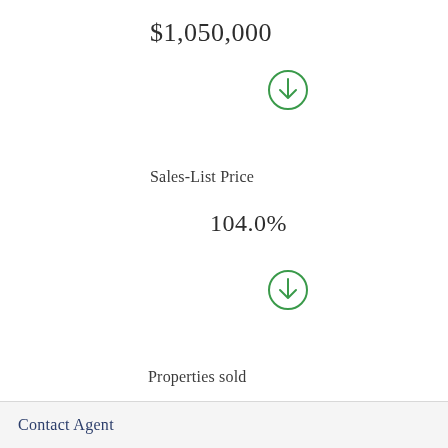$1,050,000
[Figure (illustration): Green circle with downward arrow icon]
Sales-List Price
104.0%
[Figure (illustration): Green circle with downward arrow icon]
Properties sold
274
Contact Agent